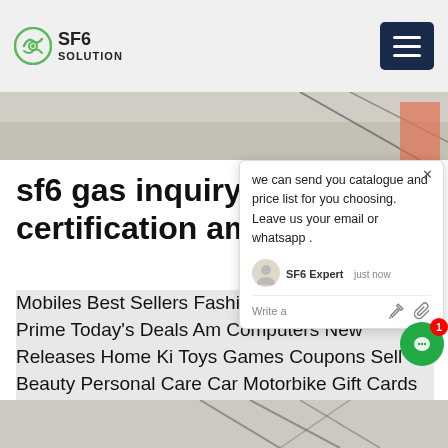SF6 SOLUTION
[Figure (photo): Hero image strip showing a surface with cables]
sf6 gas inquiry certification amazon
Mobiles Best Sellers Fashion Customers Top Electronics Prime Today's Deals Amazon Computers New Releases Home Kitchen Toys Games Coupons Sell Beauty Personal Care Car Motorbike Gift Cards Health, Household Personal Care Grocery Gourmet Foods Baby Sports, Fitness Outdoors Video Games Pet Supplies Kindle
Get Price
[Figure (photo): Bottom image strip showing metal structures]
we can send you catalogue and price list for you choosing. Leave us your email or whatsapp .